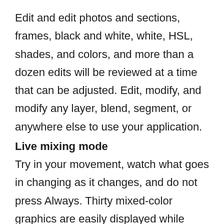Edit and edit photos and sections, frames, black and white, white, HSL, shades, and colors, and more than a dozen edits will be reviewed at a time that can be adjusted. Edit, modify, and modify any layer, blend, segment, or anywhere else to use your application.
Live mixing mode
Try in your movement, watch what goes in changing as it changes, and do not press Always. Thirty mixed-color graphics are easily displayed while playing.
Definition of Photo meaning
Accurate descriptions are essential when removing items, making covers, or using special modifications. Our straightforward counting is one